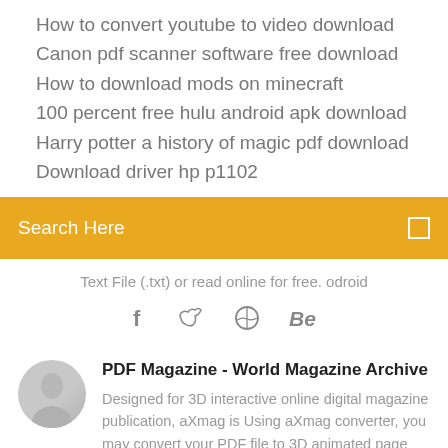How to convert youtube to video download
Canon pdf scanner software free download
How to download mods on minecraft
100 percent free hulu android apk download
Harry potter a history of magic pdf download
Download driver hp p1102
Search Here
Text File (.txt) or read online for free. odroid
[Figure (infographic): Social media icons: facebook (f), twitter bird, dribbble, behance (Be)]
PDF Magazine - World Magazine Archive
Designed for 3D interactive online digital magazine publication, aXmag is Using aXmag converter, you may convert your PDF file to 3D animated page